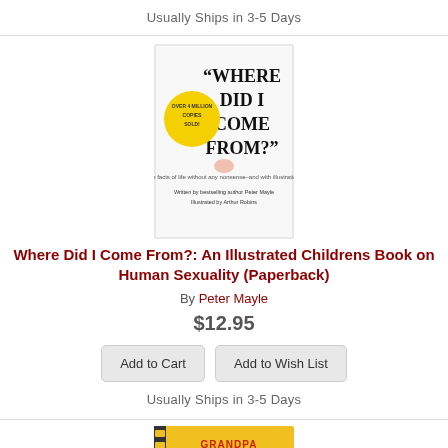Usually Ships in 3-5 Days
[Figure (photo): Book cover of 'Where Did I Come From?' with bold black text on white background and a yellow starburst badge]
Where Did I Come From?: An Illustrated Childrens Book on Human Sexuality (Paperback)
By Peter Mayle
$12.95
Add to Cart
Add to Wish List
Usually Ships in 3-5 Days
[Figure (photo): Book cover of 'Grandpa Magic' with colorful yellow and red design]